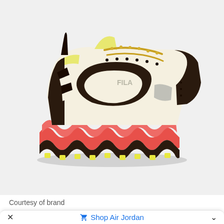[Figure (photo): A chunky sneaker (FILA brand) shown in profile/side view. The shoe features a cream/off-white upper with dark brown/black overlay panels, coral/salmon-pink thick zigzag midsole, yellow-green accents on the tongue and outsole lugs, gold chain-style laces, and a black toe cap. The background is light gray.]
Courtesy of brand
× Shop Air Jordan ^